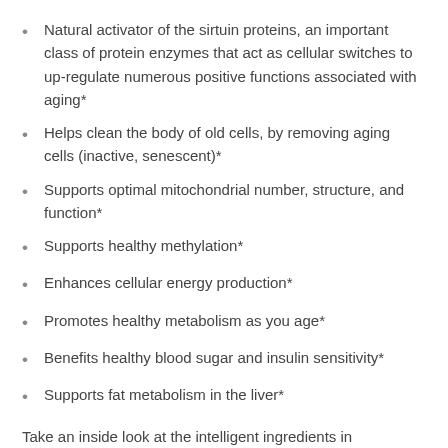Natural activator of the sirtuin proteins, an important class of protein enzymes that act as cellular switches to up-regulate numerous positive functions associated with aging*
Helps clean the body of old cells, by removing aging cells (inactive, senescent)*
Supports optimal mitochondrial number, structure, and function*
Supports healthy methylation*
Enhances cellular energy production*
Promotes healthy metabolism as you age*
Benefits healthy blood sugar and insulin sensitivity*
Supports fat metabolism in the liver*
Take an inside look at the intelligent ingredients in ResveraCel and their beneficial impacts on healthy aging:
Nicotinamide Riboside Hydrogen Malate (NR)
NAD+ – nicotinamide adenine dinucleotide – is an important